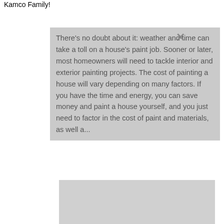Kamco Family!
There's no doubt about it: weather and time can take a toll on a house's paint job. Sooner or later, most homeowners will need to tackle interior and exterior painting projects. The cost of painting a house will vary depending on many factors. If you have the time and energy, you can save money and paint a house yourself, and you just need to factor in the cost of paint and materials, as well a...
[Figure (photo): Black and white photo of a man in a white dress shirt with a polka-dot tie and pocket square, with a yellow triangle overlaid in the lower right portion of the image.]
SuperPages uses businesses to meet your needs, providing a combination of responsible content similar to those you can select from all over the web to where you find services or products you need, and comprehensive business information to help evaluate a business's suitability for you. SuperPages advertisers receive higher placement in the default ordering of search results and may appear in sponsored listings on the top, side, or bottom of the search